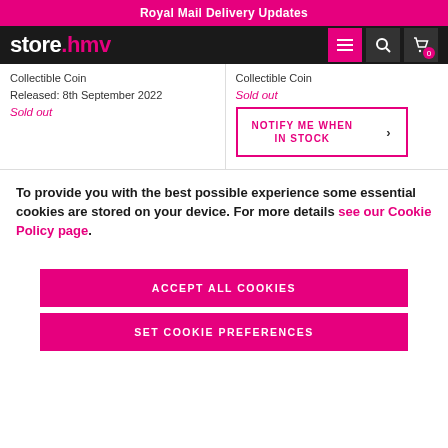Royal Mail Delivery Updates
[Figure (logo): store.hmv logo with navigation icons (menu, search, cart) on dark background]
Collectible Coin
Released: 8th September 2022
Sold out
Collectible Coin
Sold out
NOTIFY ME WHEN IN STOCK
To provide you with the best possible experience some essential cookies are stored on your device. For more details see our Cookie Policy page.
ACCEPT ALL COOKIES
SET COOKIE PREFERENCES